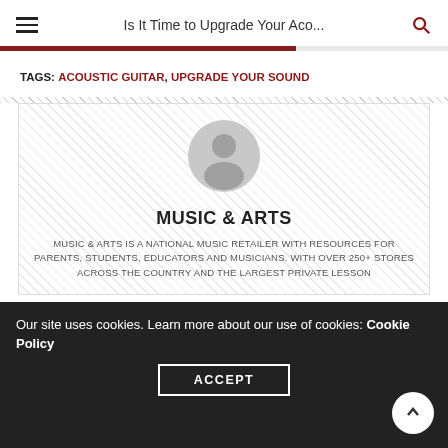Is It Time to Upgrade Your Aco...
TAGS: ACOUSTIC GUITAR, UPGRADE YOUR SOUND
[Figure (illustration): Default user avatar — a grey silhouette of a person (head and shoulders) inside a grey circle, centered in the author card]
MUSIC & ARTS
MUSIC & ARTS IS A NATIONAL MUSIC RETAILER WITH RESOURCES FOR PARENTS, STUDENTS, EDUCATORS AND MUSICIANS. WITH OVER 250+ STORES ACROSS THE COUNTRY AND THE LARGEST PRIVATE LESSON
Our site uses cookies. Learn more about our use of cookies: Cookie Policy
ACCEPT